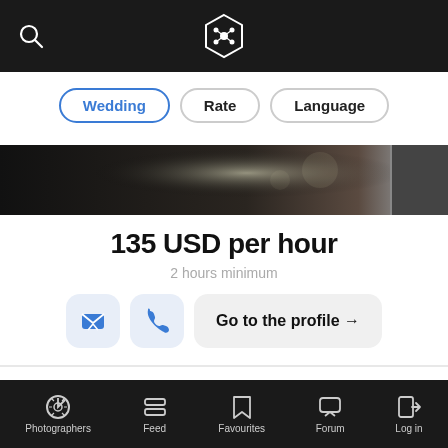App navigation bar with search icon and logo
Wedding (active filter)
Rate
Language
[Figure (photo): Dark panoramic banner photo with bokeh lighting]
135 USD per hour
2 hours minimum
Go to the profile →
Pedja Vuckovic
Belgrade, Serbia
Photographers | Feed | Favourites | Forum | Log in